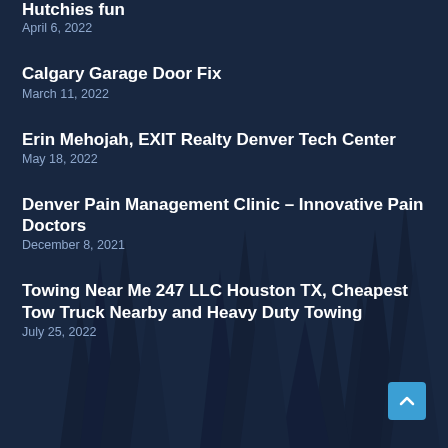Hutchies fun
April 6, 2022
Calgary Garage Door Fix
March 11, 2022
Erin Mehojah, EXIT Realty Denver Tech Center
May 18, 2022
Denver Pain Management Clinic – Innovative Pain Doctors
December 8, 2021
Towing Near Me 247 LLC Houston TX, Cheapest Tow Truck Nearby and Heavy Duty Towing
July 25, 2022